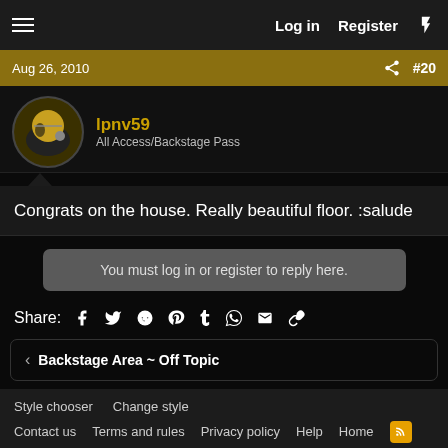Log in  Register
Aug 26, 2010  #20
lpnv59
All Access/Backstage Pass
Congrats on the house. Really beautiful floor. :salude
You must log in or register to reply here.
Share:
< Backstage Area ~ Off Topic
Style chooser  Change style
Contact us  Terms and rules  Privacy policy  Help  Home